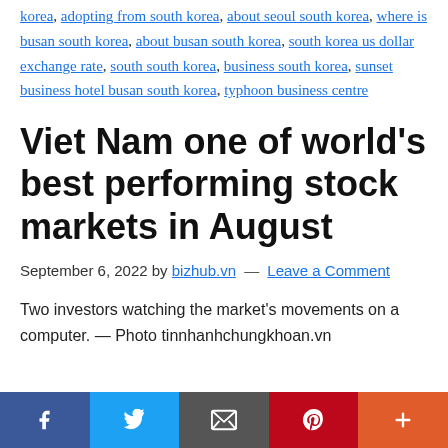korea, adopting from south korea, about seoul south korea, where is busan south korea, about busan south korea, south korea us dollar exchange rate, south south korea, business south korea, sunset business hotel busan south korea, typhoon business centre
Viet Nam one of world's best performing stock markets in August
September 6, 2022 by bizhub.vn — Leave a Comment
Two investors watching the market's movements on a computer. — Photo tinnhanhchungkhoan.vn